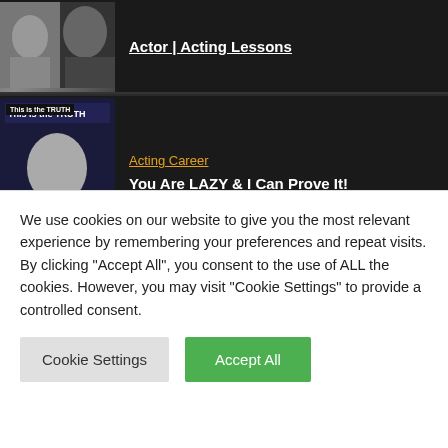[Figure (screenshot): Thumbnail of person making hand gestures against dark background]
Actor | Acting Lessons
[Figure (screenshot): Video thumbnail with text 'This is the TRUTH' showing young man]
Acting Career
You Are LAZY & I Can Prove It!
[Figure (screenshot): Video thumbnail showing close-up faces with text Cry and On C]
Acting Career
How To CRY ON CUE (Easily)
We use cookies on our website to give you the most relevant experience by remembering your preferences and repeat visits. By clicking "Accept All", you consent to the use of ALL the cookies. However, you may visit "Cookie Settings" to provide a controlled consent.